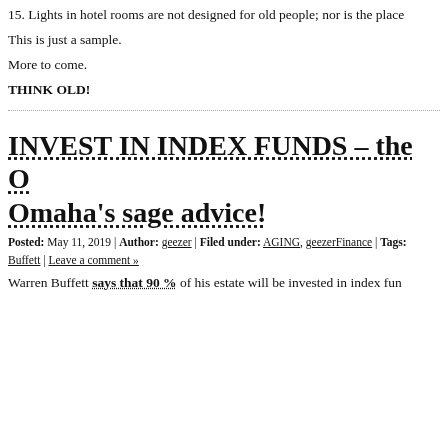15. Lights in hotel rooms are not designed for old people; nor is the place
This is just a sample.
More to come.
THINK OLD!
INVEST IN INDEX FUNDS – the O Omaha's sage advice!
Posted: May 11, 2019 | Author: geezer | Filed under: AGING, geezerFinance | Tags: Buffett | Leave a comment »
Warren Buffett says that 90 % of his estate will be invested in index fun
[Figure (photo): Partial circular image, appears to be a photograph of Warren Buffett or related subject, cropped at bottom of page]